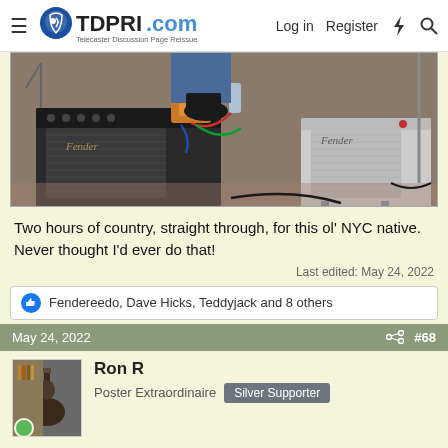TDPRI.com — Telecaster Discussion Page Reissue | Log in | Register
[Figure (photo): Photo of two Fender guitar amplifiers on stage with cables and pedals, shot from above/side angle]
Two hours of country, straight through, for this ol' NYC native. Never thought I'd ever do that!
Last edited: May 24, 2022
Fendereedo, Dave Hicks, Teddyjack and 8 others
May 24, 2022  #68
Ron R
Poster Extraordinaire  Silver Supporter
Peegoo said:
View attachment 986306